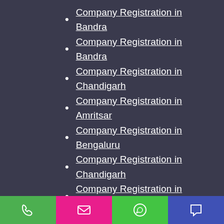Company Registration in Bandra
Company Registration in Bandra
Company Registration in Chandigarh
Company Registration in Amritsar
Company Registration in Bengaluru
Company Registration in Chandigarh
Company Registration in Meghalaya
Company Registration in Orissa
Company Registration in Puducherry
Company Registration in Uttaranchal
Company Registration in Manali
LLP Registration in Delhi
LLP Registration in Goa
LLP Registration in Noida
LLP Registration in Faridabad